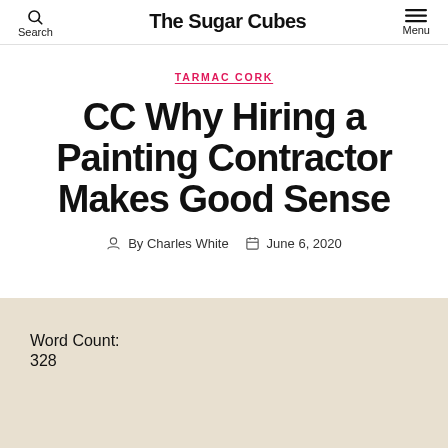The Sugar Cubes
TARMAC CORK
CC Why Hiring a Painting Contractor Makes Good Sense
By Charles White  June 6, 2020
Word Count:
328